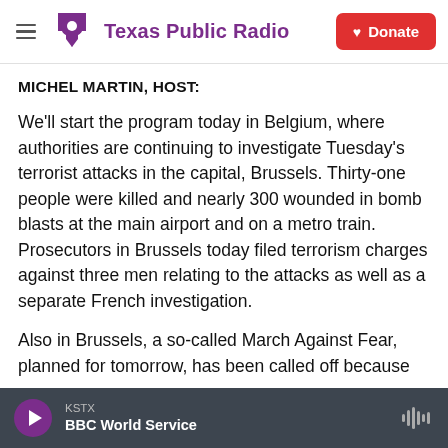Texas Public Radio — Donate
MICHEL MARTIN, HOST:
We'll start the program today in Belgium, where authorities are continuing to investigate Tuesday's terrorist attacks in the capital, Brussels. Thirty-one people were killed and nearly 300 wounded in bomb blasts at the main airport and on a metro train. Prosecutors in Brussels today filed terrorism charges against three men relating to the attacks as well as a separate French investigation.
Also in Brussels, a so-called March Against Fear, planned for tomorrow, has been called off because
KSTX — BBC World Service